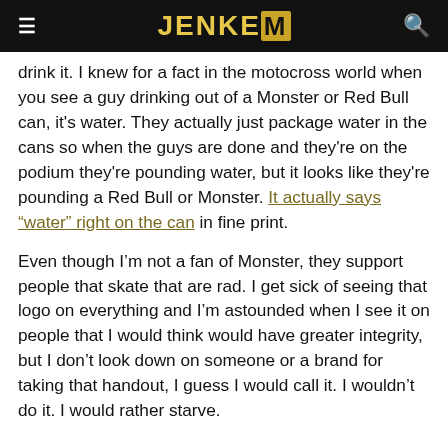JENKEM
drink it. I knew for a fact in the motocross world when you see a guy drinking out of a Monster or Red Bull can, it's water. They actually just package water in the cans so when the guys are done and they're on the podium they're pounding water, but it looks like they're pounding a Red Bull or Monster. It actually says “water” right on the can in fine print.
Even though I’m not a fan of Monster, they support people that skate that are rad. I get sick of seeing that logo on everything and I’m astounded when I see it on people that I would think would have greater integrity, but I don’t look down on someone or a brand for taking that handout, I guess I would call it. I wouldn’t do it. I would rather starve.
“I WOULD RATHER STARVE. I DON’T WANT TO BE ASSOCIATED WITH THAT.”